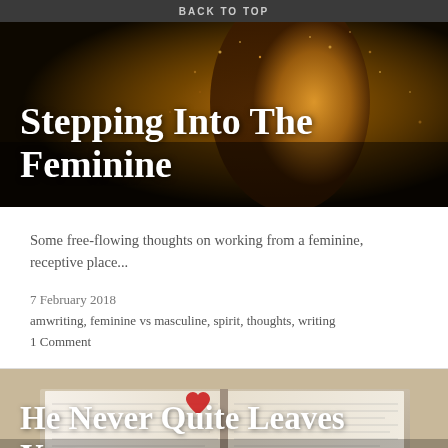BACK TO TOP
[Figure (photo): Dark artistic photo of a woman's silhouette with golden dust/powder, serving as hero image for 'Stepping Into The Feminine' blog post]
Stepping Into The Feminine
Some free-flowing thoughts on working from a feminine, receptive place...
7 February 2018
amwriting, feminine vs masculine, spirit, thoughts, writing
1 Comment
[Figure (photo): Photo of an open book with a red heart ornament on top of the pages, serving as hero image for 'He Never Quite Leaves You' blog post]
He Never Quite Leaves You